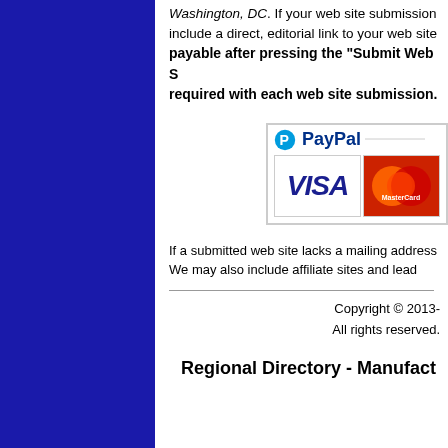Washington, DC.  If your web site submission include a direct, editorial link to your web site payable after pressing the "Submit Web S required with each web site submission.
[Figure (logo): PayPal payment logo with VISA and MasterCard credit card icons]
If a submitted web site lacks a mailing address We may also include affiliate sites and lead
Copyright © 2013- All rights reserved.
Regional Directory - Manufact